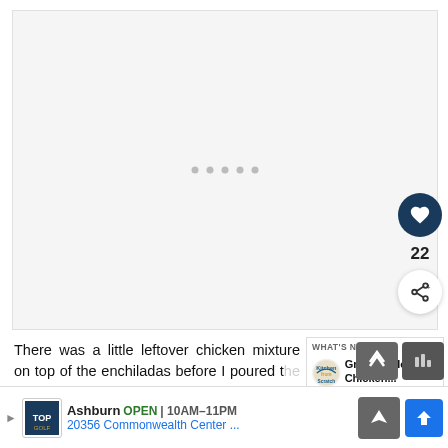[Figure (photo): Large light gray placeholder image area with loading dots, indicating an image is loading. Heart/like button (dark navy circle with heart icon), count of 22, and share button visible on the right side.]
There was a little leftover chicken mixture on top of the enchiladas before I poured the enchilada sauce on top. You know me. I hate food waste. So give it to others or save it for other...
[Figure (infographic): WHAT'S NEXT arrow box with Kitchen from Scratch logo and text 'Green Chile-Chicken...']
[Figure (infographic): Advertisement bar: Topgolf logo, Ashburn OPEN 10AM-11PM, 20356 Commonwealth Center ..., navigation arrow icon, map direction icon, scroll-to-top button, weather icon]